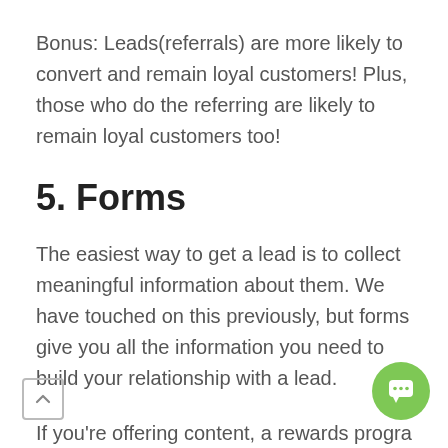Bonus: Leads(referrals) are more likely to convert and remain loyal customers! Plus, those who do the referring are likely to remain loyal customers too!
5. Forms
The easiest way to get a lead is to collect meaningful information about them. We have touched on this previously, but forms give you all the information you need to build your relationship with a lead.
If you're offering content, a rewards progra something that people will sign up for, use it to